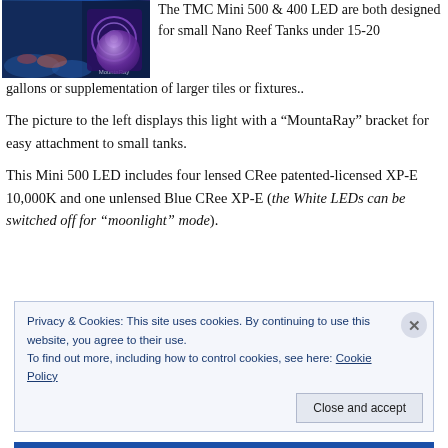[Figure (photo): Photo of TMC Mini LED light unit with a dark blue reef tank background and a purple MountaRay bracket attachment, showing 'MoontaRay' branding.]
The TMC Mini 500 & 400 LED are both designed for small Nano Reef Tanks under 15-20 gallons or supplementation of larger tiles or fixtures..
The picture to the left displays this light with a “MountaRay” bracket for easy attachment to small tanks.
This Mini 500 LED includes four lensed CRee patented-licensed XP-E 10,000K and one unlensed Blue CRee XP-E (the White LEDs can be switched off for “moonlight” mode).
Privacy & Cookies: This site uses cookies. By continuing to use this website, you agree to their use.
To find out more, including how to control cookies, see here: Cookie Policy
Close and accept